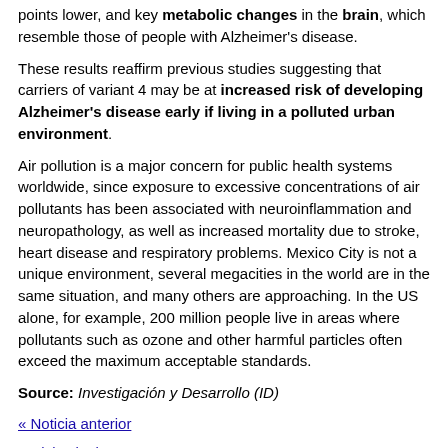points lower, and key metabolic changes in the brain, which resemble those of people with Alzheimer's disease.
These results reaffirm previous studies suggesting that carriers of variant 4 may be at increased risk of developing Alzheimer's disease early if living in a polluted urban environment.
Air pollution is a major concern for public health systems worldwide, since exposure to excessive concentrations of air pollutants has been associated with neuroinflammation and neuropathology, as well as increased mortality due to stroke, heart disease and respiratory problems. Mexico City is not a unique environment, several megacities in the world are in the same situation, and many others are approaching. In the US alone, for example, 200 million people live in areas where pollutants such as ozone and other harmful particles often exceed the maximum acceptable standards.
Source: Investigación y Desarrollo (ID)
« Noticia anterior
Noticia siguiente »
[Figure (other): Broken/placeholder image icon at bottom center of page]